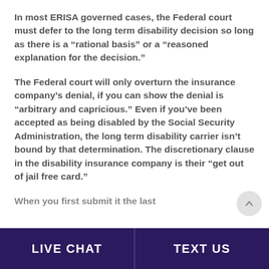In most ERISA governed cases, the Federal court must defer to the long term disability decision so long as there is a “rational basis” or a “reasoned explanation for the decision.”
The Federal court will only overturn the insurance company’s denial, if you can show the denial is “arbitrary and capricious.” Even if you’ve been accepted as being disabled by the Social Security Administration, the long term disability carrier isn’t bound by that determination. The discretionary clause in the disability insurance company is their “get out of jail free card.”
When you first submit it the last...
LIVE CHAT   TEXT US